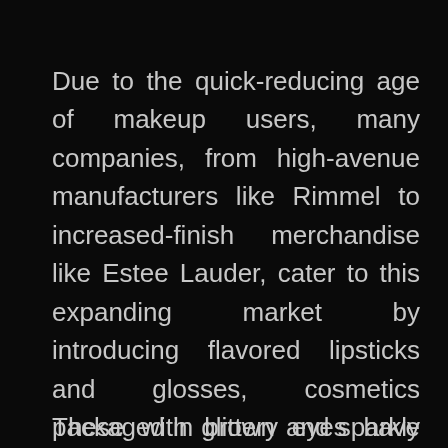Due to the quick-reducing age of makeup users, many companies, from high-avenue manufacturers like Rimmel to increased-finish merchandise like Estee Lauder, cater to this expanding market by introducing flavored lipsticks and glosses, cosmetics packaged in glittery and sparkly packaging, and advertising and advertising using younger models 37 The social penalties of younger and younger cosmetics use has had a lot attention within the media over the previous few years. ↑
These with brown eyes have big flexibility